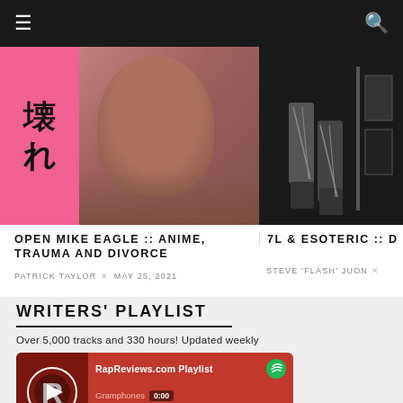☰   🔍
[Figure (photo): Pink background with Japanese kanji characters on left, photo of person on right]
[Figure (photo): Black and white photo of legs/feet walking]
OPEN MIKE EAGLE :: ANIME, TRAUMA AND DIVORCE
PATRICK TAYLOR × MAY 25, 2021
7L & ESOTERIC :: D
STEVE 'FLASH' JUON ×
WRITERS' PLAYLIST
Over 5,000 tracks and 330 hours! Updated weekly
[Figure (screenshot): Spotify player widget showing RapReviews.com Playlist with Gramphones track, time 0:00, red background with R logo]